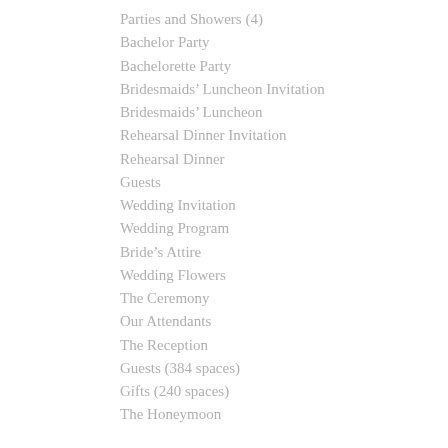Parties and Showers (4)
Bachelor Party
Bachelorette Party
Bridesmaids’ Luncheon Invitation
Bridesmaids’ Luncheon
Rehearsal Dinner Invitation
Rehearsal Dinner
Guests
Wedding Invitation
Wedding Program
Bride’s Attire
Wedding Flowers
The Ceremony
Our Attendants
The Reception
Guests (384 spaces)
Gifts (240 spaces)
The Honeymoon